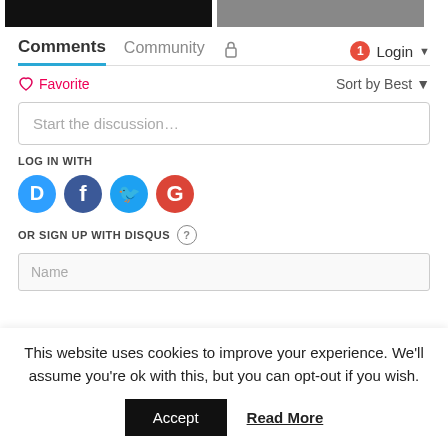[Figure (screenshot): Two dark/gray image thumbnails at top of page]
Comments  Community  Login
Favorite   Sort by Best
Start the discussion…
LOG IN WITH
[Figure (infographic): Social login icons: Disqus (blue D), Facebook (dark blue f), Twitter (light blue bird), Google (red G)]
OR SIGN UP WITH DISQUS ?
Name
This website uses cookies to improve your experience. We'll assume you're ok with this, but you can opt-out if you wish.
Accept   Read More